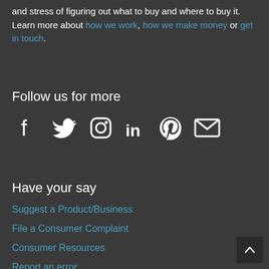and stress of figuring out what to buy and where to buy it. Learn more about how we work, how we make money or get in touch.
Follow us for more
[Figure (infographic): Social media icons: Facebook, Twitter, Instagram, LinkedIn, Pinterest, Email]
Have your say
Suggest a Product/Business
File a Consumer Complaint
Consumer Resources
Report an error